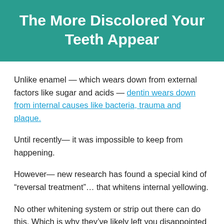The More Discolored Your Teeth Appear
Unlike enamel — which wears down from external factors like sugar and acids — dentin wears down from internal causes like bacteria, trauma and plaque.
Until recently— it was impossible to keep from happening.
However— new research has found a special kind of “reversal treatment”… that whitens internal yellowing.
No other whitening system or strip out there can do this. Which is why they’ve likely left you disappointed in the past.